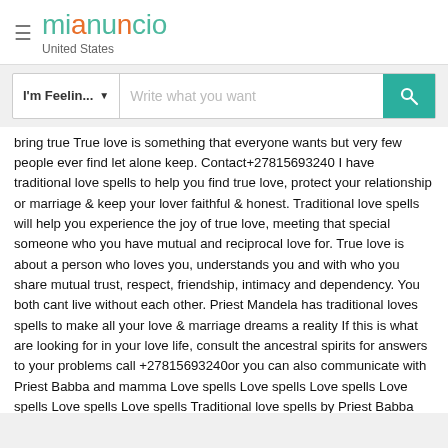mianuncio United States
I'm Feelin... ▼   Write what you want
bring true True love is something that everyone wants but very few people ever find let alone keep. Contact+27815693240 I have traditional love spells to help you find true love, protect your relationship or marriage & keep your lover faithful & honest. Traditional love spells will help you experience the joy of true love, meeting that special someone who you have mutual and reciprocal love for. True love is about a person who loves you, understands you and with who you share mutual trust, respect, friendship, intimacy and dependency. You both cant live without each other. Priest Mandela has traditional loves spells to make all your love & marriage dreams a reality If this is what are looking for in your love life, consult the ancestral spirits for answers to your problems call +27815693240or you can also communicate with Priest Babba and mamma Love spells Love spells Love spells Love spells Love spells Love spells Traditional love spells by Priest Babba and mamma(the Traditional Healer) are based on the magic of the mount Traditional. Priest Mandela the Traditional Healer and spell caster with love spells, lost love spells, marriage spells, romance spells and lust spells. Make someone you want to fall in love with you, find the most perfect lover, bring your lover back. For this & more order these ancient classical love spells by Priest Mandela Bring back lost love spells Contact;+27815693240Don't throw in the towel. Don't accept defeat. Priest Omar has powerful bring back lost love spells to reunite you and your ex-lover. If you have separated with your lover for any reason & no matter what time has passed bring back lost love spells by Priest Mandela will recreate strong feelings of affection & sexual attraction between you and your ex-lover. Bring back lost love spells will cause your ex-lover to be besotted